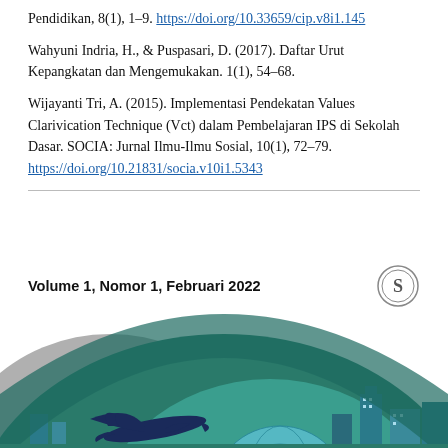Pendidikan, 8(1), 1–9. https://doi.org/10.33659/cip.v8i1.145
Wahyuni Indria, H., & Puspasari, D. (2017). Daftar Urut Kepangkatan dan Mengemukakan. 1(1), 54–68.
Wijayanti Tri, A. (2015). Implementasi Pendekatan Values Clarivication Technique (Vct) dalam Pembelajaran IPS di Sekolah Dasar. SOCIA: Jurnal Ilmu-Ilmu Sosial, 10(1), 72–79. https://doi.org/10.21831/socia.v10i1.5343
[Figure (illustration): Journal cover footer showing 'Volume 1, Nomor 1, Februari 2022' with a circular logo on the right, and a decorative cover image with a dark teal arc background, airplane silhouette, globe, and city buildings in teal tones.]